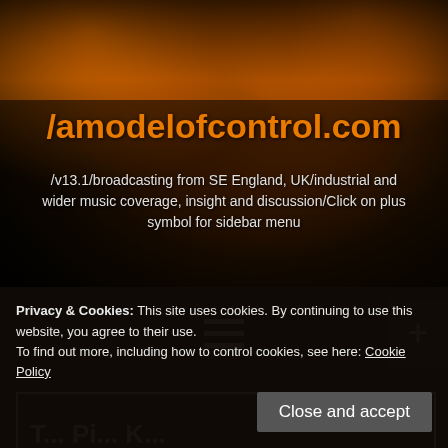/amodelofcontrol.com
/v13.1/broadcasting from SE England, UK/industrial and wider music coverage, insight and discussion/Click on plus symbol for sidebar menu
[Figure (other): Hamburger menu icon (three horizontal white lines) centered in dark navigation bar, with a plus (+) sign button in the top-right corner]
[Figure (other): Partially visible content card with white border, showing truncated large white bold text at bottom, on dark background]
Privacy & Cookies: This site uses cookies. By continuing to use this website, you agree to their use.
To find out more, including how to control cookies, see here: Cookie Policy
Close and accept